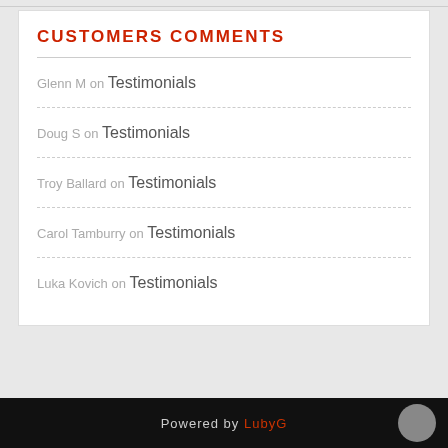Customers Comments
Glenn M on Testimonials
Doug S on Testimonials
Troy Ballard on Testimonials
Carol Tamburry on Testimonials
Luka Kovich on Testimonials
Powered by LubyG